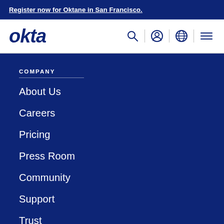Register now for Oktane in San Francisco.
[Figure (logo): Okta logo in dark blue italic bold text, with navigation icons: search, user account, globe/language, and hamburger menu]
COMPANY
About Us
Careers
Pricing
Press Room
Community
Support
Trust